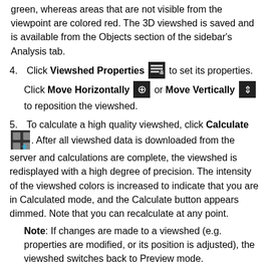green, whereas areas that are not visible from the viewpoint are colored red. The 3D viewshed is saved and is available from the Objects section of the sidebar's Analysis tab.
4. Click Viewshed Properties [icon] to set its properties. Click Move Horizontally [icon] or Move Vertically [icon] to reposition the viewshed.
5. To calculate a high quality viewshed, click Calculate [icon]. After all viewshed data is downloaded from the server and calculations are complete, the viewshed is redisplayed with a high degree of precision. The intensity of the viewshed colors is increased to indicate that you are in Calculated mode, and the Calculate button appears dimmed. Note that you can recalculate at any point. Note: If changes are made to a viewshed (e.g. properties are modified, or its position is adjusted), the viewshed switches back to Preview mode.